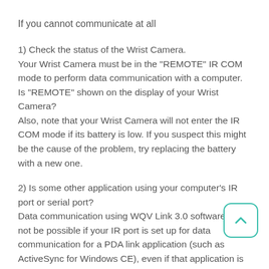If you cannot communicate at all
1) Check the status of the Wrist Camera.
Your Wrist Camera must be in the "REMOTE" IR COM mode to perform data communication with a computer. Is "REMOTE" shown on the display of your Wrist Camera?
Also, note that your Wrist Camera will not enter the IR COM mode if its battery is low. If you suspect this might be the cause of the problem, try replacing the battery with a new one.
2) Is some other application using your computer's IR port or serial port?
Data communication using WQV Link 3.0 software will not be possible if your IR port is set up for data communication for a PDA link application (such as ActiveSync for Windows CE), even if that application is